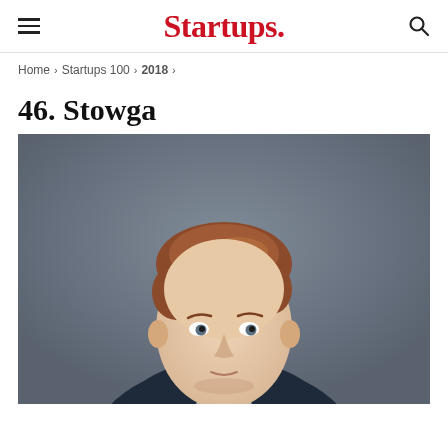Startups.
Home > Startups 100 > 2018 >
46. Stowga
[Figure (photo): Professional headshot of a young man with short reddish-brown hair, wearing a dark navy blue zip-up jacket over a grey shirt, photographed against a grey studio background.]